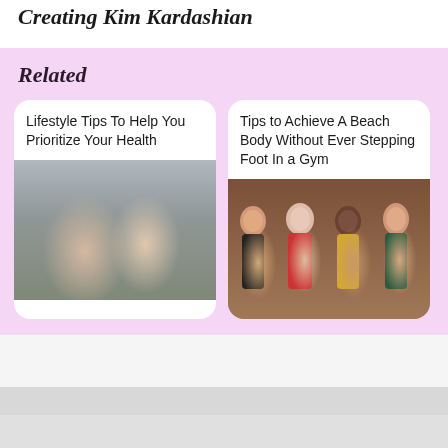Creating Kim Kardashian
Related
Lifestyle Tips To Help You Prioritize Your Health
[Figure (photo): Two people in workout clothes sitting on a gym floor, smiling, one holding a water bottle]
Tips to Achieve A Beach Body Without Ever Stepping Foot In a Gym
[Figure (photo): Four women in bikinis posing together with arms raised against a brown background]